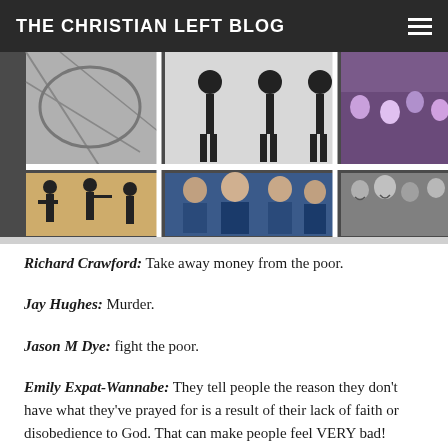THE CHRISTIAN LEFT BLOG
[Figure (photo): Collage of multiple black and white and color photos showing groups of people including silhouettes, a group of men making gestures, a young man, and a crowd]
Richard Crawford: Take away money from the poor.
Jay Hughes: Murder.
Jason M Dye: fight the poor.
Emily Expat-Wannabe: They tell people the reason they don't have what they've prayed for is a result of their lack of faith or disobedience to God. That can make people feel VERY bad!
Jason M Dye: Christian book/supply stores.